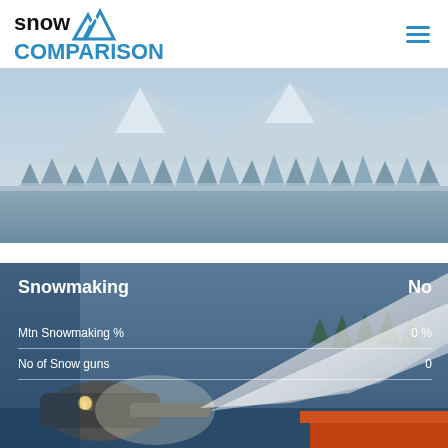[Figure (logo): Snow Comparison logo with mountain icon and hamburger menu]
[Figure (photo): Snow-covered mountain landscape with frost-covered trees in winter]
[Figure (photo): Snow gun machine operating at night with spray of artificial snow, with info overlay showing Snowmaking: No, Mtn Snowmaking %: 0%, No of Snow guns: 0]